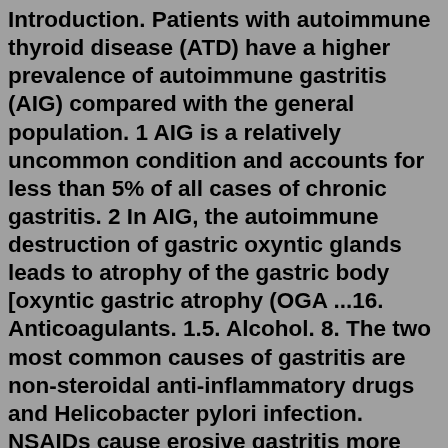Introduction. Patients with autoimmune thyroid disease (ATD) have a higher prevalence of autoimmune gastritis (AIG) compared with the general population. 1 AIG is a relatively uncommon condition and accounts for less than 5% of all cases of chronic gastritis. 2 In AIG, the autoimmune destruction of gastric oxyntic glands leads to atrophy of the gastric body [oxyntic gastric atrophy (OGA ...16. Anticoagulants. 1.5. Alcohol. 8. The two most common causes of gastritis are non-steroidal anti-inflammatory drugs and Helicobacter pylori infection. NSAIDs cause erosive gastritis more ...Autoimmune gastritis (AIG) is an increasingly prevalent, organ-specific, immune-mediated disorder characterized by the destruction of gastric parietal cells, leading to the loss of intrinsic ...Gastritis is a condition that inflames the stomach lining (the mucosa), causing belly pain, indigestion (dyspepsia), bloating and nausea. It can lead to other problems. Gastritis can come on suddenly (acute) or gradually (chronic). Medications and dietary changes can